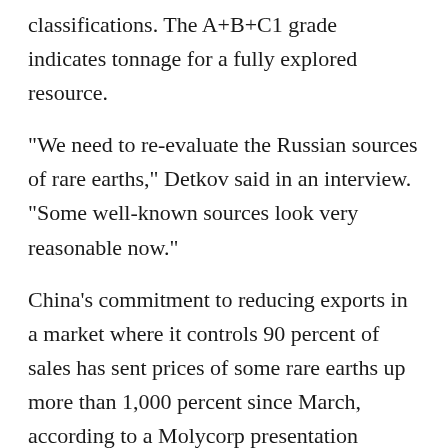classifications. The A+B+C1 grade indicates tonnage for a fully explored resource.
"We need to re-evaluate the Russian sources of rare earths," Detkov said in an interview. "Some well-known sources look very reasonable now."
China's commitment to reducing exports in a market where it controls 90 percent of sales has sent prices of some rare earths up more than 1,000 percent since March, according to a Molycorp presentation Tuesday in Tokyo. Higher profits and a need to secure the materials — key to making electric and hybrid cars — have boosted demand for alternative sources from Asian buyers.